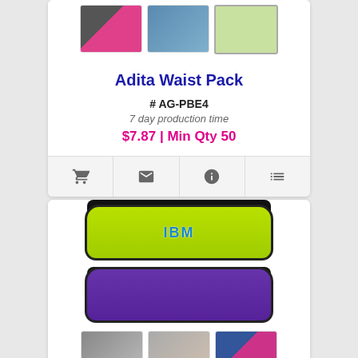[Figure (photo): Product thumbnail images of Adita Waist Pack: pink/black pack, person wearing pack, yellow-green pack]
Adita Waist Pack
# AG-PBE4
7 day production time
$7.87 | Min Qty 50
[Figure (infographic): Icon toolbar row: shopping cart, envelope, info, list icons]
[Figure (photo): Two waist packs: yellow-green with IBM logo, purple with JUV logo, with pens/pencils diagonally across. Bottom row of thumbnail images.]